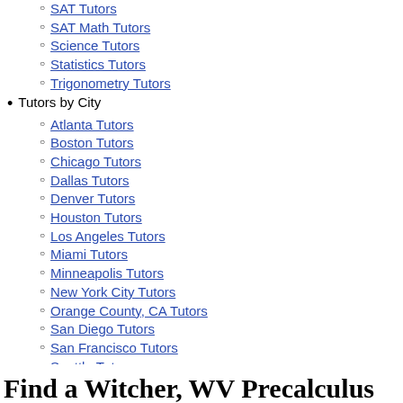SAT Tutors
SAT Math Tutors
Science Tutors
Statistics Tutors
Trigonometry Tutors
Tutors by City
Atlanta Tutors
Boston Tutors
Chicago Tutors
Dallas Tutors
Denver Tutors
Houston Tutors
Los Angeles Tutors
Miami Tutors
Minneapolis Tutors
New York City Tutors
Orange County, CA Tutors
San Diego Tutors
San Francisco Tutors
Seattle Tutors
Washington, DC Tutors
Find a Witcher, WV Precalculus